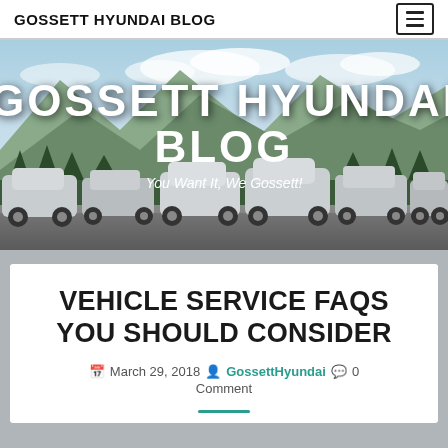GOSSETT HYUNDAI BLOG
[Figure (photo): Hero banner image showing multiple Hyundai SUV/crossover vehicles lined up on a road with mountain scenery in the background. Large white text reads GOSSETT HYUNDAI BLOG with tagline You Want It, We Gossett!]
VEHICLE SERVICE FAQS YOU SHOULD CONSIDER
March 29, 2018  GossettHyundai  0 Comment